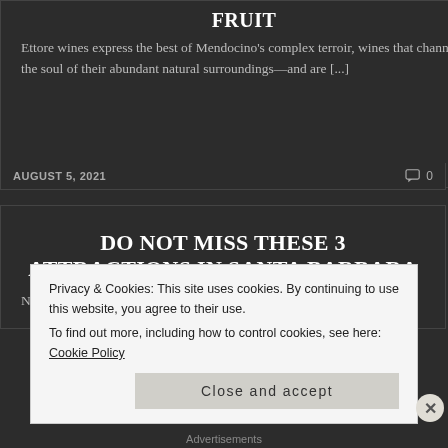FRUIT
Ettore wines express the best of Mendocino's complex terroir, wines that channel the soul of their abundant natural surroundings—and are [...]
AUGUST 5, 2021
0
DO NOT MISS THESE 3 ATTRACTIONS IN SANTA BARBARA
No visit to Santa Barbara would be complete without
Privacy & Cookies: This site uses cookies. By continuing to use this website, you agree to their use.
To find out more, including how to control cookies, see here: Cookie Policy
Close and accept
Advertisements